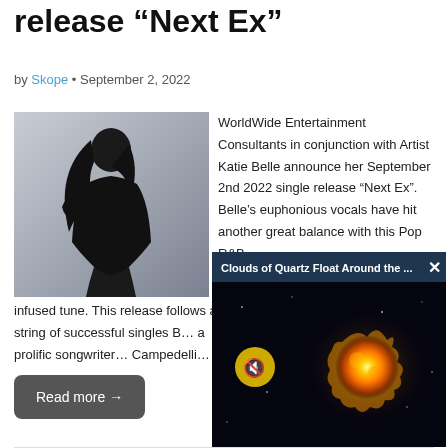release “Next Ex”
by Skope • September 2, 2022
[Figure (photo): Photo of artist Katie Belle in black outfit against light background]
WorldWide Entertainment Consultants in conjunction with Artist Katie Belle announce her September 2nd 2022 single release “Next Ex”. Belle’s euphonious vocals have hit another great balance with this Pop R&B infused tune. This release follows a string of successful singles B… a prolific songwriter… Campedelli…
[Figure (screenshot): Floating video popup showing 'Clouds of Quartz Float Around the ...' with a glowing orange star/sun image and a mute button]